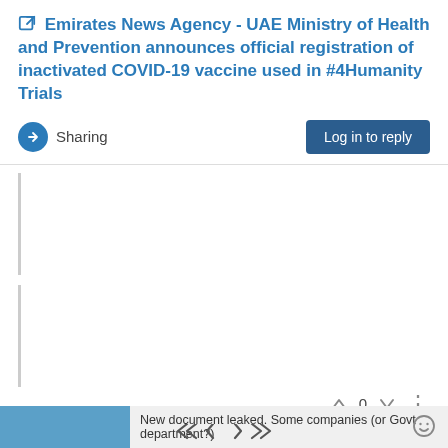Emirates News Agency - UAE Ministry of Health and Prevention announces official registration of inactivated COVID-19 vaccine used in #4Humanity Trials
Sharing
Log in to reply
0
river
23 Dec 2020, 07:44
New document leaked. Some companies (or Govt department?)